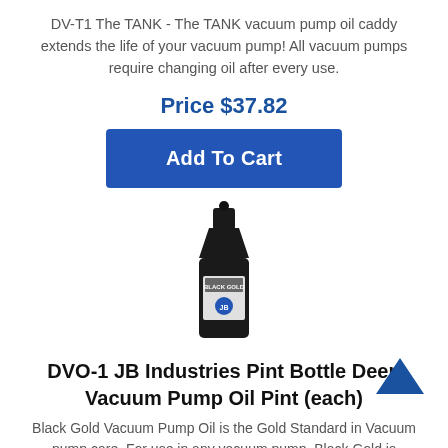DV-T1 The TANK - The TANK vacuum pump oil caddy extends the life of your vacuum pump! All vacuum pumps require changing oil after every use.
Price $37.82
[Figure (other): Blue 'Add To Cart' button]
[Figure (photo): Black bottle of Black Gold Deep Vacuum Pump Oil]
DVO-1 JB Industries Pint Bottle Deep Vacuum Pump Oil Pint (each)
Black Gold Vacuum Pump Oil is the Gold Standard in Vacuum pump care. For use in any vacuum pump, Black Gold is extremely pure and non-detergent. Our Black Gold is hydro